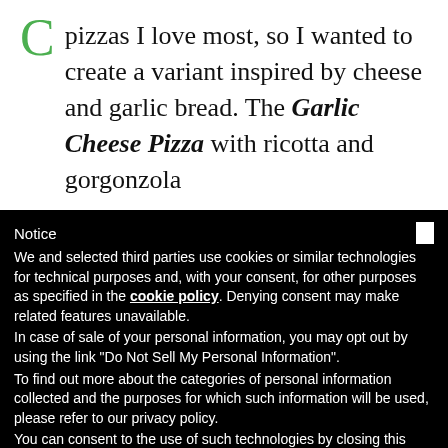pizzas I love most, so I wanted to create a variant inspired by cheese and garlic bread. The Garlic Cheese Pizza with ricotta and gorgonzola
Notice
We and selected third parties use cookies or similar technologies for technical purposes and, with your consent, for other purposes as specified in the cookie policy. Denying consent may make related features unavailable.
In case of sale of your personal information, you may opt out by using the link "Do Not Sell My Personal Information".
To find out more about the categories of personal information collected and the purposes for which such information will be used, please refer to our privacy policy.
You can consent to the use of such technologies by closing this notice.
Learn more and customize
Reject